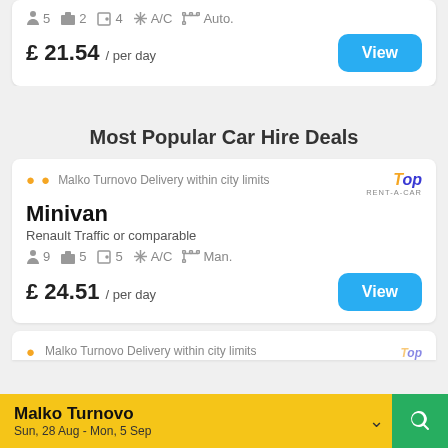5 passengers, 2 bags, 4 doors, A/C, Auto.
£ 21.54 / per day
Most Popular Car Hire Deals
Malko Turnovo Delivery within city limits
Minivan
Renault Traffic or comparable
9 passengers, 5 bags, 5 doors, A/C, Man.
£ 24.51 / per day
Malko Turnovo Delivery within city limits
Malko Turnovo
Sun, 28 Aug - Mon, 5 Sep